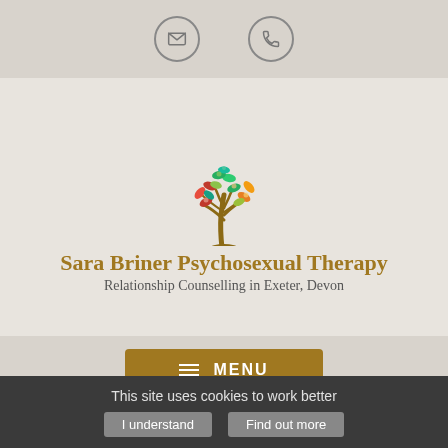[Figure (other): Top navigation bar with email icon (envelope in circle) and phone icon (handset in circle) on a beige/grey background]
[Figure (logo): Decorative tree illustration with colorful hand-shaped leaves in red, green, orange, yellow, blue on a warm beige background, serving as the site logo]
Sara Briner Psychosexual Therapy
Relationship Counselling in Exeter, Devon
[Figure (other): Gold/amber MENU button with three horizontal lines (hamburger icon) on grey background]
Privacy notice.
[Figure (other): Circular scroll-to-top arrow button with gold border]
This site uses cookies to work better
I understand
Find out more